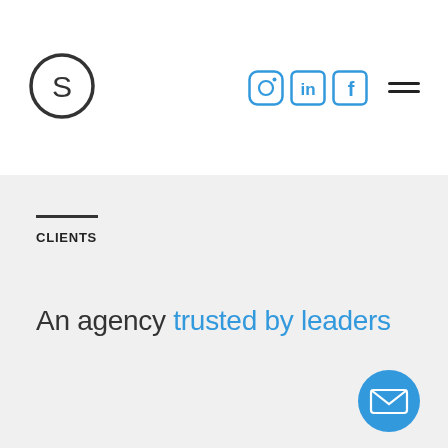[Figure (logo): Circular logo with letter S inside, dark outline]
[Figure (infographic): Social media icons: Instagram, LinkedIn, Facebook in blue rounded rectangles; hamburger menu icon]
CLIENTS
An agency trusted by leaders
[Figure (infographic): Blue circular email/envelope button in bottom right corner]